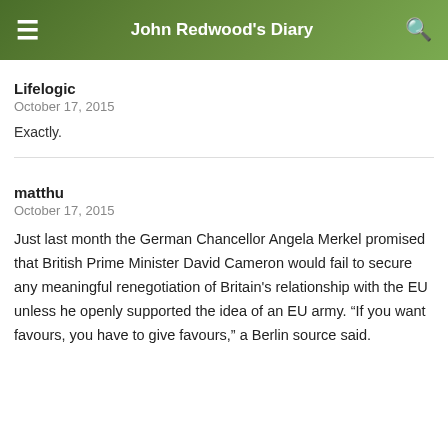John Redwood's Diary
Lifelogic
October 17, 2015
Exactly.
matthu
October 17, 2015
Just last month the German Chancellor Angela Merkel promised that British Prime Minister David Cameron would fail to secure any meaningful renegotiation of Britain's relationship with the EU unless he openly supported the idea of an EU army. “If you want favours, you have to give favours,” a Berlin source said.